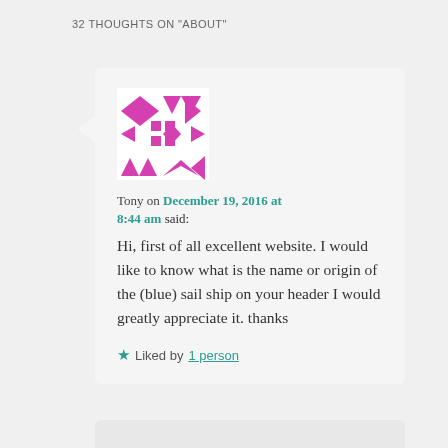32 THOUGHTS ON "ABOUT"
[Figure (illustration): Geometric avatar with pink/magenta pattern of triangles and squares on white background]
Tony on December 19, 2016 at 8:44 am said:
Hi, first of all excellent website. I would like to know what is the name or origin of the (blue) sail ship on your header I would greatly appreciate it. thanks
★ Liked by 1 person